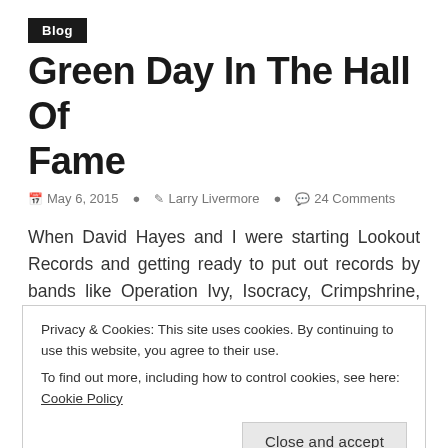Blog
Green Day In The Hall Of Fame
May 6, 2015   Larry Livermore   24 Comments
When David Hayes and I were starting Lookout Records and getting ready to put out records by bands like Operation Ivy, Isocracy, Crimpshrine, and Sweet Children, it was hard to see ourselves or the bands we worked with as anything other than
Privacy & Cookies: This site uses cookies. By continuing to use this website, you agree to their use.
To find out more, including how to control cookies, see here: Cookie Policy
to upend. Now, a bit shy of three decades later, the